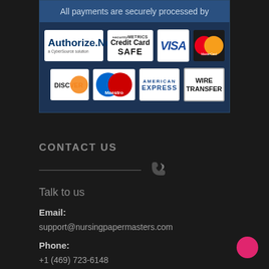All payments are securely processed by
[Figure (logo): Payment logos: Authorize.Net, SecurityMetrics Credit Card SAFE, VISA, MasterCard, Discover, Maestro, American Express, Wire Transfer]
CONTACT US
Talk to us
Email:
support@nursingpapermasters.com
Phone:
+1 (469) 723-6148